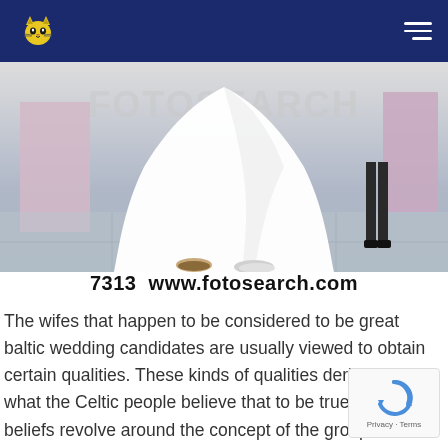Logo and navigation header with dark blue background
[Figure (photo): Wedding scene showing the lower half of a bride in a white wedding dress and groom's feet, with pink/lavender decorations in background. FOTOSEARCH watermark visible.]
7313  www.fotosearch.com
The wifes that happen to be considered to be great baltic wedding candidates are usually viewed to obtain certain qualities. These kinds of qualities derive from what the Celtic people believe that to be true. these beliefs revolve around the concept of the group